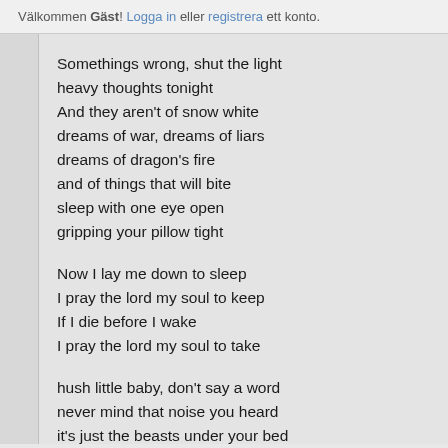Välkommen Gäst! Logga in eller registrera ett konto.
Somethings wrong, shut the light
heavy thoughts tonight
And they aren't of snow white
dreams of war, dreams of liars
dreams of dragon's fire
and of things that will bite
sleep with one eye open
gripping your pillow tight
Now I lay me down to sleep
I pray the lord my soul to keep
If I die before I wake
I pray the lord my soul to take
hush little baby, don't say a word
never mind that noise you heard
it's just the beasts under your bed
in your closet, in your head